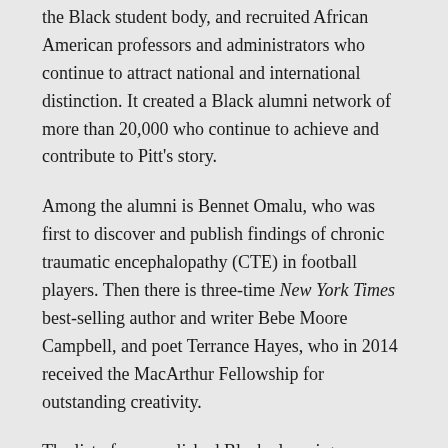the Black student body, and recruited African American professors and administrators who continue to attract national and international distinction. It created a Black alumni network of more than 20,000 who continue to achieve and contribute to Pitt's story.
Among the alumni is Bennet Omalu, who was first to discover and publish findings of chronic traumatic encephalopathy (CTE) in football players. Then there is three-time New York Times best-selling author and writer Bebe Moore Campbell, and poet Terrance Hayes, who in 2014 received the MacArthur Fellowship for outstanding creativity.
The list of accomplished Black alumni goes on and on.
Perhaps that list would not be what it is had it not